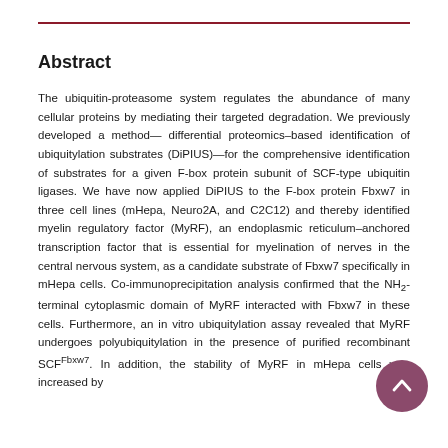Abstract
The ubiquitin-proteasome system regulates the abundance of many cellular proteins by mediating their targeted degradation. We previously developed a method— differential proteomics–based identification of ubiquitylation substrates (DiPIUS)—for the comprehensive identification of substrates for a given F-box protein subunit of SCF-type ubiquitin ligases. We have now applied DiPIUS to the F-box protein Fbxw7 in three cell lines (mHepa, Neuro2A, and C2C12) and thereby identified myelin regulatory factor (MyRF), an endoplasmic reticulum–anchored transcription factor that is essential for myelination of nerves in the central nervous system, as a candidate substrate of Fbxw7 specifically in mHepa cells. Co-immunoprecipitation analysis confirmed that the NH2-terminal cytoplasmic domain of MyRF interacted with Fbxw7 in these cells. Furthermore, an in vitro ubiquitylation assay revealed that MyRF undergoes polyubiquitylation in the presence of purified recombinant SCFFbxw7. In addition, the stability of MyRF in mHepa cells was increased by